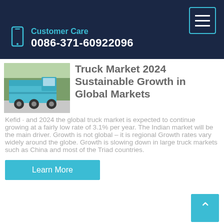Customer Care
0086-371-60922096
[Figure (photo): A blue/teal heavy dump truck parked outdoors]
Truck Market 2024 Sustainable Growth in Global Markets
Kefid · and 2024 the global truck market is expected to continue growing at a fairly low rate of 3.1% per year. The Indian market will be the main driver. Growth is not global – it is regional Growth rates vary widely around the globe. Growth is slowing down in large truck markets such as China and most of the Triad countries.